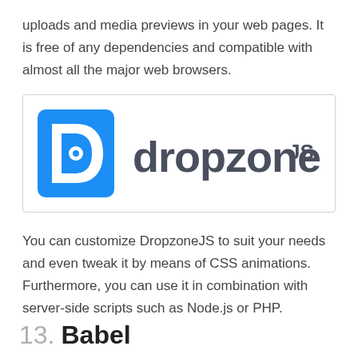uploads and media previews in your web pages. It is free of any dependencies and compatible with almost all the major web browsers.
[Figure (logo): DropzoneJS logo: a blue stylized 'D' icon on the left and the text 'dropzone' in dark gray with 'JS' superscript on the right, inside a bordered rectangle.]
You can customize DropzoneJS to suit your needs and even tweak it by means of CSS animations. Furthermore, you can use it in combination with server-side scripts such as Node.js or PHP.
13. Babel